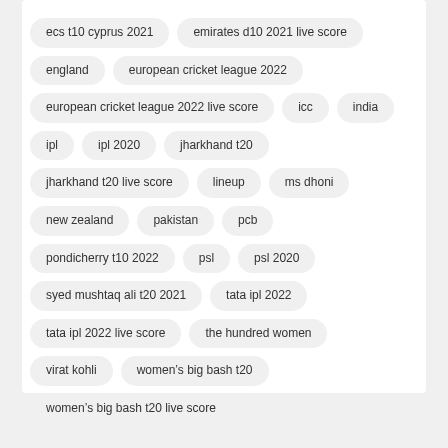ecs t10 cyprus 2021
emirates d10 2021 live score
england
european cricket league 2022
european cricket league 2022 live score
icc
india
ipl
ipl 2020
jharkhand t20
jharkhand t20 live score
lineup
ms dhoni
new zealand
pakistan
pcb
pondicherry t10 2022
psl
psl 2020
syed mushtaq ali t20 2021
tata ipl 2022
tata ipl 2022 live score
the hundred women
virat kohli
women's big bash t20
women's big bash t20 live score